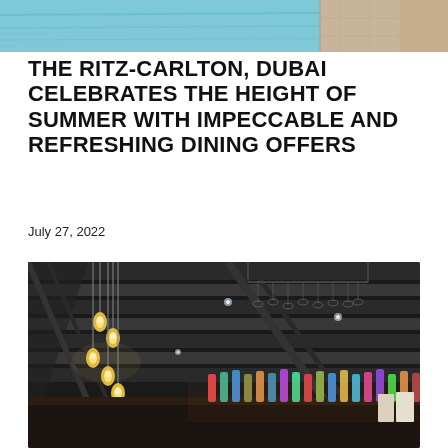[Figure (photo): Partial view of a pool area with blue water and surrounding stonework, cropped at top of page]
THE RITZ-CARLTON, DUBAI CELEBRATES THE HEIGHT OF SUMMER WITH IMPECCABLE AND REFRESHING DINING OFFERS
July 27, 2022
[Figure (photo): Interior of a bar or restaurant showing a dark industrial ceiling with hanging Edison bulb pendant lights, with a bar stocked with colorful bottles visible in the background]